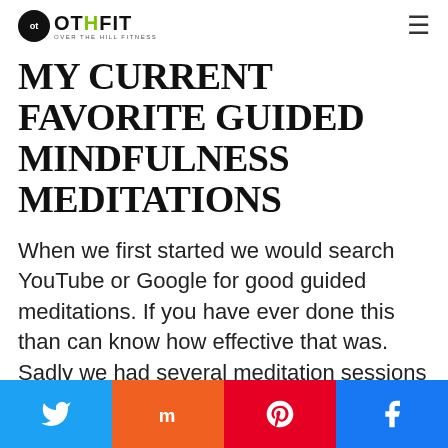OTHFIT OVER THE HILL FITNESS
MY CURRENT FAVORITE GUIDED MINDFULNESS MEDITATIONS
When we first started we would search YouTube or Google for good guided meditations. If you have ever done this than can know how effective that was. Sadly we had several meditation sessions were ruined by bad guides. I hope that this list will save you from going through the same thing and also
[Figure (other): Social share bar with Twitter, Mix, Pinterest, and Facebook buttons]